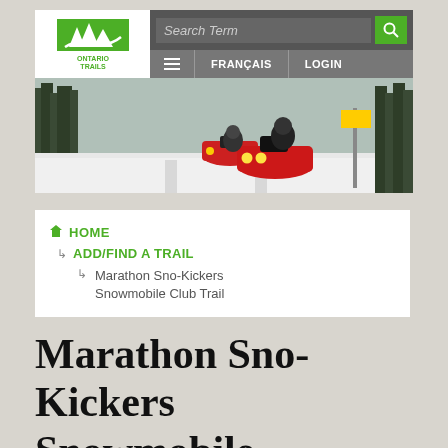[Figure (screenshot): Ontario Trails website header with logo, search bar, navigation bar with hamburger menu, FRANÇAIS and LOGIN links]
[Figure (photo): Hero photo of snowmobilers riding red snowmobiles on a snowy trail through winter forest]
HOME > ADD/FIND A TRAIL > Marathon Sno-Kickers Snowmobile Club Trail
Marathon Sno-Kickers Snowmobile Club Trail